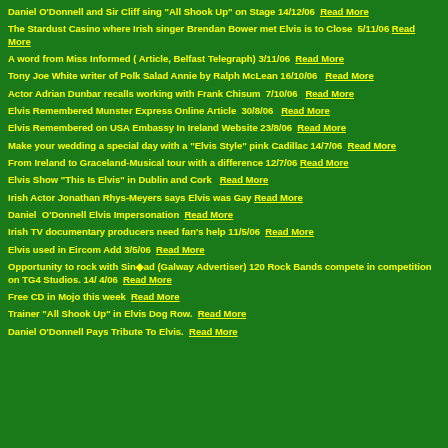Daniel O'Donnell and Sir Cliff sing "All Shook Up" on Stage 14/12/06  Read More
The Stardust Casino where Irish singer Brendan Bower met Elvis is to Close  5/11/06  Read More
A word from Miss Informed ( Article, Belfast Telegraph) 3/11/06   Read More
Tony Joe White writer of Polk Salad Annie by Ralph McLean 16/10/06   Read More
Actor Adrian Dunbar recalls working with Frank Chisum  7/10/06   Read More
Elvis Remembered Munster Express Online Article  30/8/06   Read More
Elvis Remembered on USA Embassy In Ireland Website  23/8/06   Read More
Make your wedding a special day with a "Elvis Style" pink Cadillac  14/7/06   Read More
From Ireland to Graceland-Musical tour with a difference  12/7/06  Read More
Elvis Show "This Is Elvis" in Dublin and Cork   Read More
Irish Actor Jonathan Rhys-Meyers says Elvis was Gay  Read More
Daniel O'Donnell Elvis Impersonation   Read More
Irish TV documentary producers need fan's help  11/5/06   Read More
Elvis used in Eircom Add 3/5/06   Read More
Opportunity to rock with Sinéad (Galway Advertiser) 120 Rock Bands compete in competition on TG4 Studios. 14/ 4/06  Read More
Free CD in Mojo this week   Read More
Trainer "All Shook Up" in Elvis Dog Row.   Read More
Daniel O'Donnell Pays Tribute To Elvis.   Read More